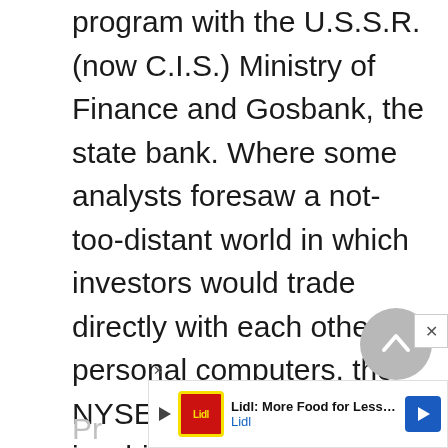program with the U.S.S.R. (now C.I.S.) Ministry of Finance and Gosbank, the state bank. Where some analysts foresaw a not-too-distant world in which investors would trade directly with each other on personal computers, the NYSE moved into an era in which technology and growing competition would have to be worked and reworked into an efficient and orderly marketplace.
Pr
[Figure (other): Advertisement banner: Lidl: More Food for Less Money, with Lidl logo and navigation arrow]